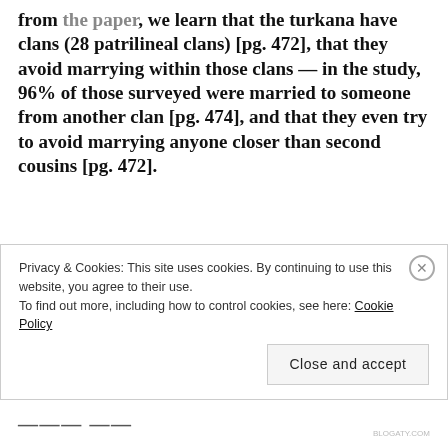from the paper, we learn that the turkana have clans (28 patrilineal clans) [pg. 472], that they avoid marrying within those clans — in the study, 96% of those surveyed were married to someone from another clan [pg. 474], and that they even try to avoid marrying anyone closer than second cousins [pg. 472].
(one thing that the turkana do have which complicates the picture is polygamy. clearly polygamy, like cousin marriage, also results in closer relatedness [a lot of individuals in the population
Privacy & Cookies: This site uses cookies. By continuing to use this website, you agree to their use.
To find out more, including how to control cookies, see here: Cookie Policy
Close and accept